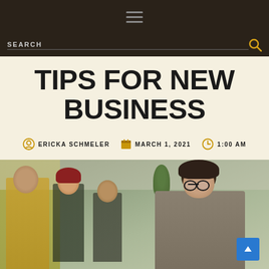Navigation bar with hamburger menu
SEARCH
TIPS FOR NEW BUSINESS OWNERS
ERICKA SCHMELER   MARCH 1, 2021   1:00 AM
[Figure (photo): A smiling professional woman with curly hair and round glasses in an office setting, with colleagues in the background. A yellow wall is visible on the left.]